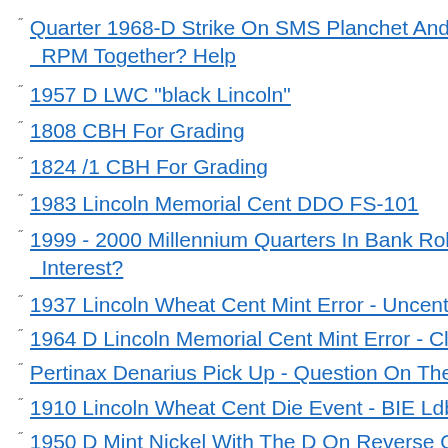Quarter 1968-D Strike On SMS Planchet And D RPM Together? Help
1957 D LWC "black Lincoln"
1808 CBH For Grading
1824 /1 CBH For Grading
1983 Lincoln Memorial Cent DDO FS-101
1999 - 2000 Millennium Quarters In Bank Rolls. Interest?
1937 Lincoln Wheat Cent Mint Error - Uncentered
1964 D Lincoln Memorial Cent Mint Error - Clipp
Pertinax Denarius Pick Up - Question On The P
1910 Lincoln Wheat Cent Die Event - BIE Ldb3
1950 D Mint Nickel With The D On Reverse On